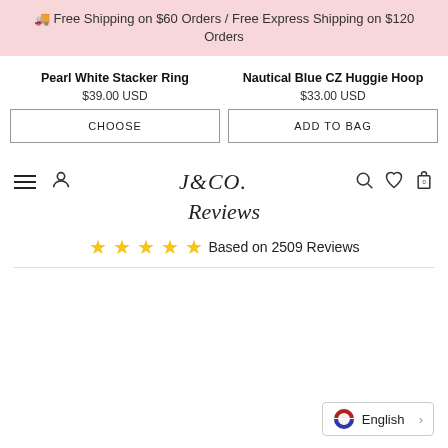🚚 Free Shipping on $60 Orders / Free Express Shipping on $120 Orders
Pearl White Stacker Ring
$39.00 USD
CHOOSE
Nautical Blue CZ Huggie Hoop
$33.00 USD
ADD TO BAG
[Figure (logo): J&CO. brand logo and navigation bar with hamburger menu, user icon, search, heart, and bag icons]
Reviews
★★★★★ Based on 2509 Reviews
English >